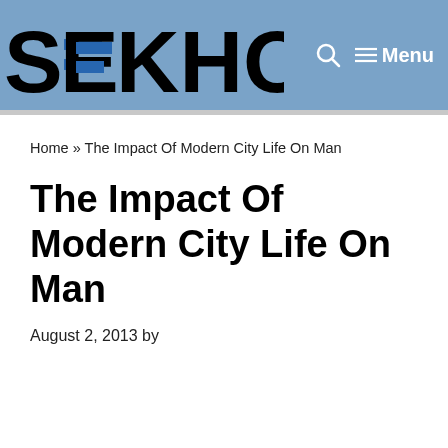SEKHO — Menu
Home » The Impact Of Modern City Life On Man
The Impact Of Modern City Life On Man
August 2, 2013 by